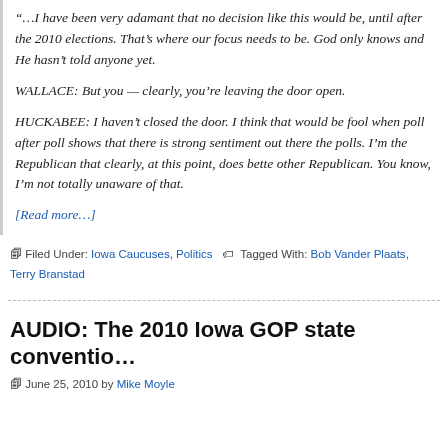“…I have been very adamant that no decision like this would be, until after the 2010 elections. That’s where our focus needs to be. God only knows and He hasn’t told anyone yet.

WALLACE: But you — clearly, you’re leaving the door open.

HUCKABEE: I haven’t closed the door. I think that would be foolish when poll after poll shows that there is strong sentiment out there the polls. I’m the Republican that clearly, at this point, does better other Republican. You know, I’m not totally unaware of that.
[Read more…]
Filed Under: Iowa Caucuses, Politics  Tagged With: Bob Vander Plaats, Terry Branstad
AUDIO: The 2010 Iowa GOP state conventio…
June 25, 2010 by Mike Moyle